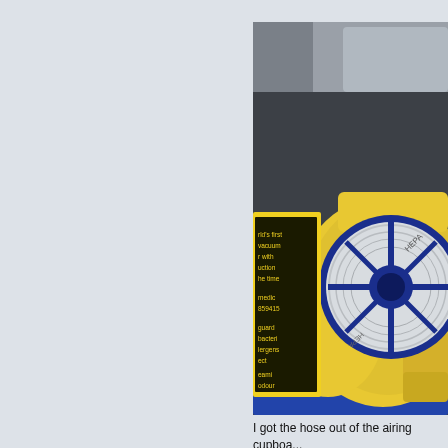[Figure (photo): Close-up photo of a yellow and blue vacuum cleaner filter/component, with a circular HEPA filter visible and a yellow housing. A product label in the background reads partial text including 'world's first vacuum cleaner with suction the time', 'medic', '859415', 'guard bacteria lergens', 'ect', 'eami odour', 'scopic and radon', 'ner with er and screen'.]
I got the hose out of the airing cupboa...